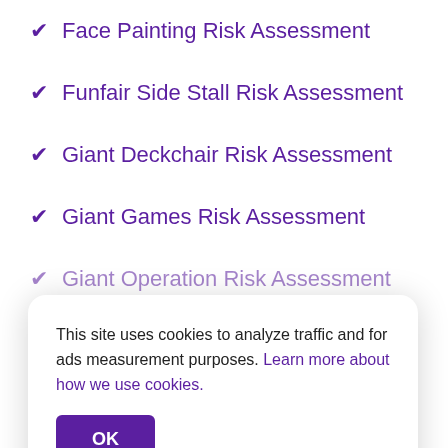✔ Face Painting Risk Assessment
✔ Funfair Side Stall Risk Assessment
✔ Giant Deckchair Risk Assessment
✔ Giant Games Risk Assessment
✔ Giant Operation Risk Assessment
This site uses cookies to analyze traffic and for ads measurement purposes. Learn more about how we use cookies.
✔ Giant Twister Risk Assessment